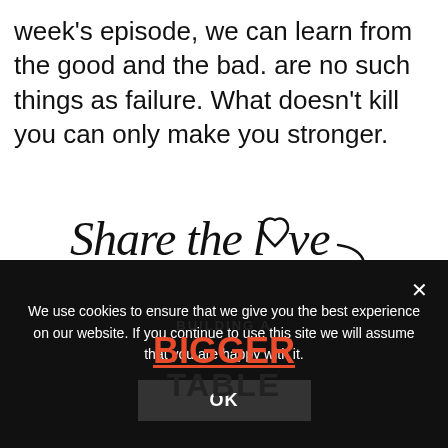week's episode, we can learn from the good and the bad. are no such things as failure. What doesn't kill you can only make you stronger.
[Figure (illustration): Handwritten script text reading 'Share the love' with a hand-drawn heart replacing the 'o' in love, and a curved arrow pointing downward at the end.]
[Figure (logo): Banner graphic with peach/salmon background, orange triangle top-left, green arc shape top-right. Text reads 'BUILDING A' in small caps, 'BIGGER' in large bold orange with underline, 'TABLE' in large bold dark text.]
We use cookies to ensure that we give you the best experience on our website. If you continue to use this site we will assume that you are happy with it.
OK